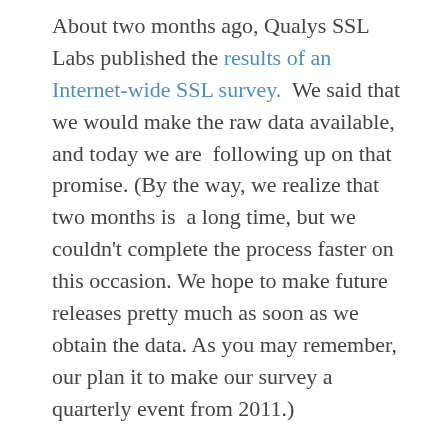About two months ago, Qualys SSL Labs published the results of an Internet-wide SSL survey. We said that we would make the raw data available, and today we are  following up on that promise. (By the way, we realize that two months is  a long time, but we couldn't complete the process faster on this occasion. We hope to make future releases pretty much as soon as we obtain the data. As you may remember, our plan it to make our survey a quarterly event from 2011.)
The raw data contains the SSL assessment results of about 850,000 domain names (out of about 120M we inspected). The main file (1.2 GB 120 MB compressed, 3.5 GB 800 MB uncompressed) is a dump of our PostgreSQL database in CSV format. We include in the download a simple PHP script that it...